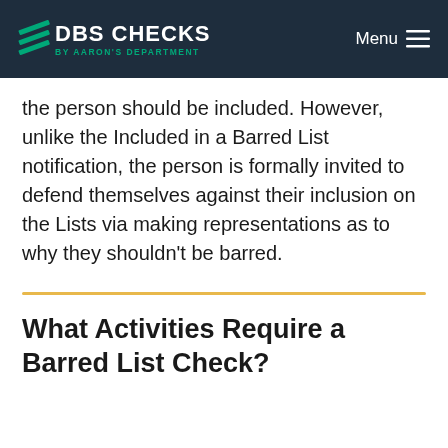DBS CHECKS BY AARON'S DEPARTMENT | Menu
the person should be included. However, unlike the Included in a Barred List notification, the person is formally invited to defend themselves against their inclusion on the Lists via making representations as to why they shouldn't be barred.
What Activities Require a Barred List Check?